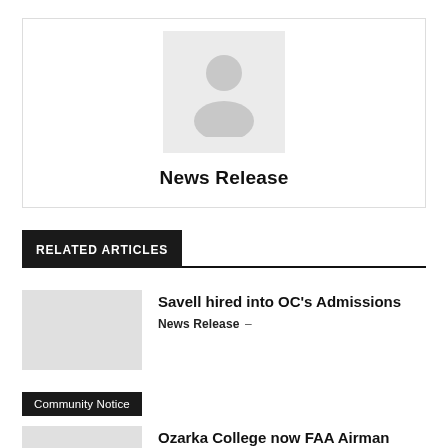[Figure (illustration): Default user avatar placeholder image — grey square with white silhouette of a person]
News Release
RELATED ARTICLES
Savell hired into OC's Admissions
News Release –
Community Notice
Ozarka College now FAA Airman Knowledge testing location